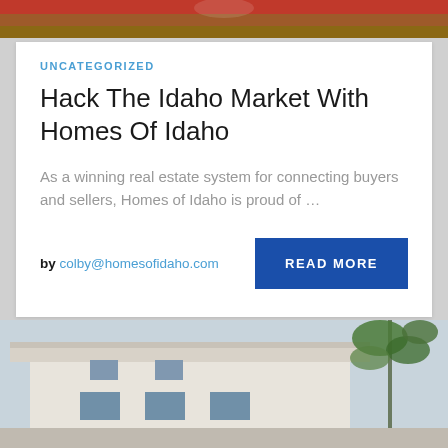[Figure (photo): Partial view of a house or real estate image at the top of the page, cropped, showing warm-toned siding and roof detail]
UNCATEGORIZED
Hack The Idaho Market With Homes Of Idaho
As a winning real estate system for connecting buyers and sellers, Homes of Idaho is proud of …
by colby@homesofidaho.com
READ MORE
[Figure (photo): Modern white house exterior with flat roof, multiple windows, and palm tree foliage visible on the right side, blue-grey sky background]